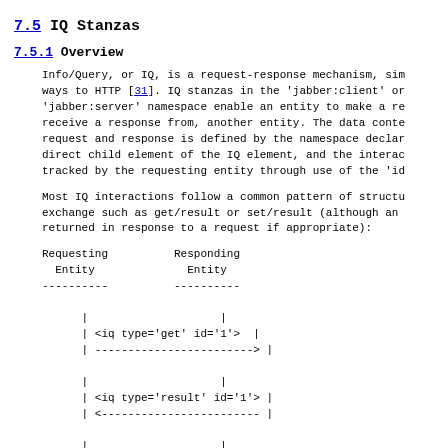7.5 IQ Stanzas
7.5.1 Overview
Info/Query, or IQ, is a request-response mechanism, sim ways to HTTP [31]. IQ stanzas in the 'jabber:client' or 'jabber:server' namespace enable an entity to make a re receive a response from, another entity. The data conte request and response is defined by the namespace declar direct child element of the IQ element, and the interac tracked by the requesting entity through use of the 'id
Most IQ interactions follow a common pattern of structu exchange such as get/result or set/result (although an returned in response to a request if appropriate):
[Figure (schematic): Sequence diagram showing IQ stanza exchange between Requesting Entity and Responding Entity, showing get/result/set message flows with arrows]